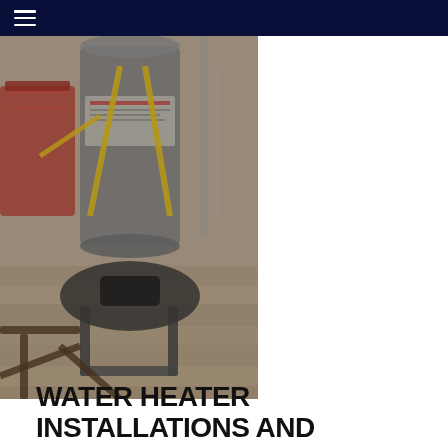[Figure (photo): A water heater and associated equipment being installed or moved, with yellow straps and tools visible on a wooden floor surface.]
WATER HEATER INSTALLATIONS AND